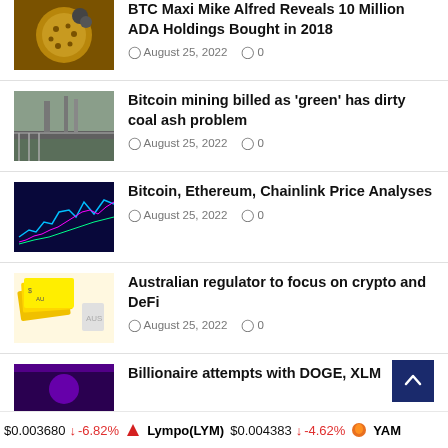BTC Maxi Mike Alfred Reveals 10 Million ADA Holdings Bought in 2018 — August 25, 2022 — 0 comments
Bitcoin mining billed as 'green' has dirty coal ash problem — August 25, 2022 — 0 comments
Bitcoin, Ethereum, Chainlink Price Analyses — August 25, 2022 — 0 comments
Australian regulator to focus on crypto and DeFi — August 25, 2022 — 0 comments
Billionaire attempts with DOGE, XLM
$0.003680 ↓ -6.82% Lympo(LYM) $0.004383 ↓ -4.62% YAM